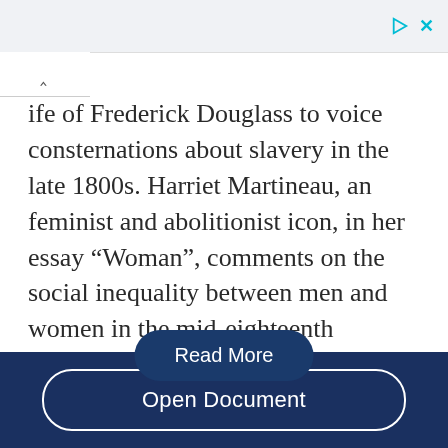[Figure (screenshot): Ad bar with play and close icons in top right corner]
ife of Frederick Douglass to voice consternations about slavery in the late 1800s. Harriet Martineau, an feminist and abolitionist icon, in her essay “Woman”, comments on the social inequality between men and women in the mid-eighteenth century. According to Douglass’s autobiography, one always caused slaveholders to become more ruthless was their conversion to or practice of faith…
Read More
Open Document